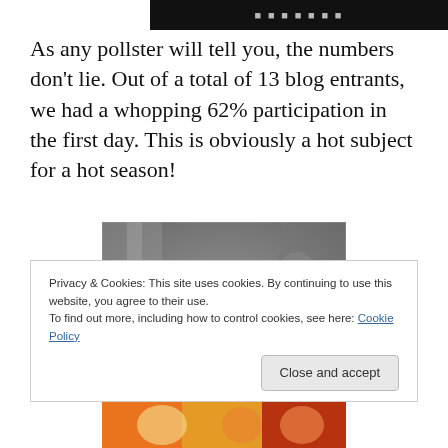[Figure (photo): Top portion of a movie or blog header image, dark background with white text, partially visible]
As any pollster will tell you, the numbers don't lie. Out of a total of 13 blog entrants, we had a whopping 62% participation in the first day. This is obviously a hot subject for a hot season!
[Figure (photo): Black and white film still showing three people — a woman in a draped dress and two men in suits — in conversation in what appears to be an elegant interior setting]
Privacy & Cookies: This site uses cookies. By continuing to use this website, you agree to their use.
To find out more, including how to control cookies, see here: Cookie Policy
[Figure (photo): Bottom portion of another image, colorful, partially visible at the bottom of the page]